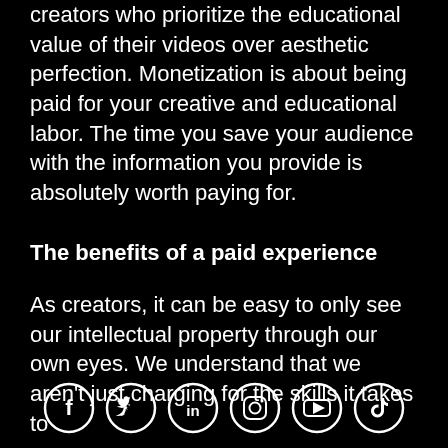creators who prioritize the educational value of their videos over aesthetic perfection. Monetization is about being paid for your creative and educational labor. The time you save your audience with the information you provide is absolutely worth paying for.
The benefits of a paid experience
As creators, it can be easy to only see our intellectual property through our own eyes. We understand that we aren't just charging for the skills it takes to
[Figure (infographic): Six social media icon circles in a row: Facebook, Twitter, LinkedIn, Instagram, YouTube, TikTok]